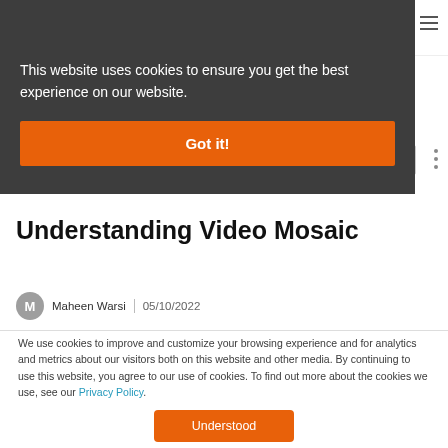[Figure (screenshot): Vidizmo logo in top navigation bar]
This website uses cookies to ensure you get the best experience on our website.
Got it!
Understanding Video Mosaic
Maheen Warsi   05/10/2022
We use cookies to improve and customize your browsing experience and for analytics and metrics about our visitors both on this website and other media. By continuing to use this website, you agree to our use of cookies. To find out more about the cookies we use, see our Privacy Policy.
Understood